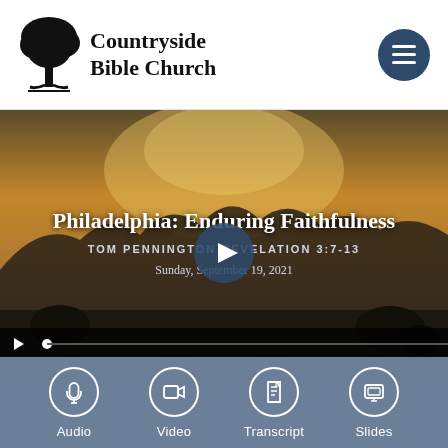[Figure (logo): Countryside Bible Church logo with tree silhouette and church name]
[Figure (screenshot): Video player showing sermon titled 'Philadelphia: Enduring Faithfulness' by Tom Pennington, Revelation 3:7-13, Sunday September 19 2021. Shows landscape background with mountains and sunset, play button overlay, and video controls bar at bottom.]
[Figure (infographic): Media options panel with four circular icon buttons: Audio (headphones icon), Video (camera icon), Transcript (document icon), Slides (presentation icon) on a blue-gray background.]